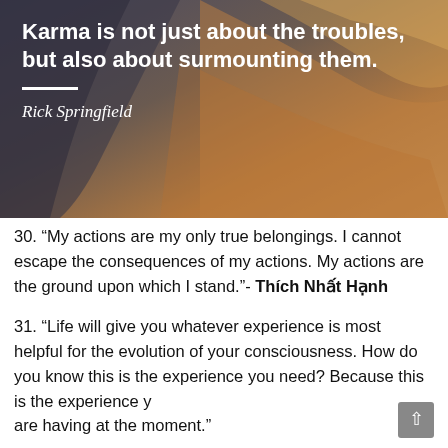[Figure (photo): Aerial/satellite photo of a rocky canyon landscape with sandy textures and orange-brown mineral formations, overlaid with a quote in white text: 'Karma is not just about the troubles, but also about surmounting them.' attributed to Rick Springfield in italics, with a white horizontal rule between the quote and the attribution.]
30. “My actions are my only true belongings. I cannot escape the consequences of my actions. My actions are the ground upon which I stand.”- Thích Nhất Hạnh
31. “Life will give you whatever experience is most helpful for the evolution of your consciousness. How do you know this is the experience you need? Because this is the experience y are having at the moment."